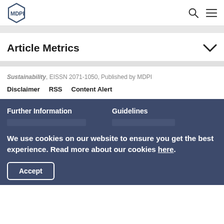MDPI
Article Metrics
Sustainability, EISSN 2071-1050, Published by MDPI
Disclaimer  RSS  Content Alert
Further Information
Guidelines
We use cookies on our website to ensure you get the best experience. Read more about our cookies here.
Accept